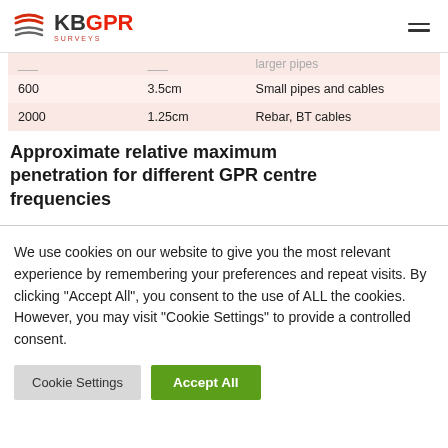KB GPR Surveys
|  |  |  |
| --- | --- | --- |
| 600 | 3.5cm | Small pipes and cables |
| 2000 | 1.25cm | Rebar, BT cables |
Approximate relative maximum penetration for different GPR centre frequencies
We use cookies on our website to give you the most relevant experience by remembering your preferences and repeat visits. By clicking “Accept All”, you consent to the use of ALL the cookies. However, you may visit “Cookie Settings” to provide a controlled consent.